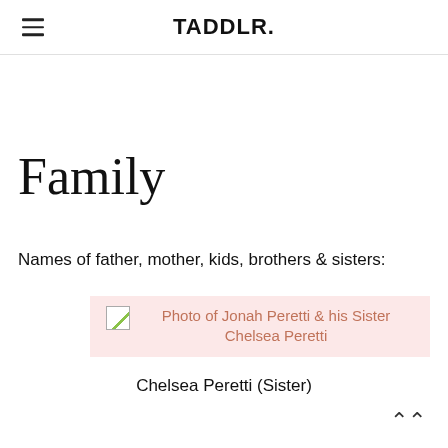TADDLR.
Family
Names of father, mother, kids, brothers & sisters:
[Figure (photo): Photo of Jonah Peretti & his Sister Chelsea Peretti (broken image placeholder with pink background)]
Chelsea Peretti (Sister)